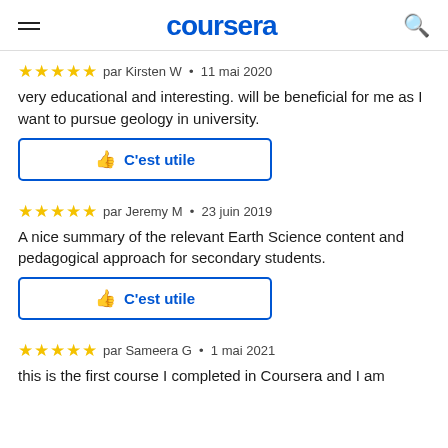coursera
par Kirsten W · 11 mai 2020
very educational and interesting. will be beneficial for me as I want to pursue geology in university.
C'est utile
par Jeremy M · 23 juin 2019
A nice summary of the relevant Earth Science content and pedagogical approach for secondary students.
C'est utile
par Sameera G · 1 mai 2021
this is the first course I completed in Coursera and I am